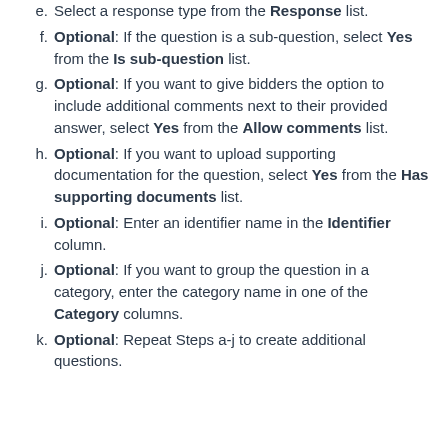e. Select a response type from the Response list.
f. Optional: If the question is a sub-question, select Yes from the Is sub-question list.
g. Optional: If you want to give bidders the option to include additional comments next to their provided answer, select Yes from the Allow comments list.
h. Optional: If you want to upload supporting documentation for the question, select Yes from the Has supporting documents list.
i. Optional: Enter an identifier name in the Identifier column.
j. Optional: If you want to group the question in a category, enter the category name in one of the Category columns.
k. Optional: Repeat Steps a-j to create additional questions.